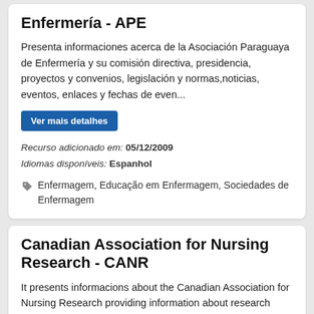Enfermería - APE
Presenta informaciones acerca de la Asociación Paraguaya de Enfermería y su comisión directiva, presidencia, proyectos y convenios, legislación y normas,noticias, eventos, enlaces y fechas de even...
Ver mais detalhes
Recurso adicionado em: 05/12/2009
Idiomas disponíveis: Espanhol
Enfermagem, Educação em Enfermagem, Sociedades de Enfermagem
Canadian Association for Nursing Research - CANR
It presents informacions about the Canadian Association for Nursing Research providing information about research studies, methods, funding and other resources and strengthening linkages between resea...
Ver mais detalhes